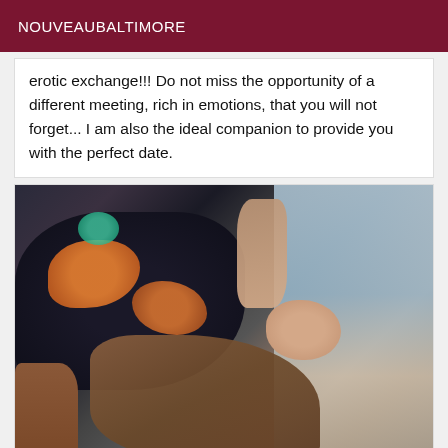NOUVEAUBALTIMORE
erotic exchange!!! Do not miss the opportunity of a different meeting, rich in emotions, that you will not forget... I am also the ideal companion to provide you with the perfect date.
[Figure (photo): A woman in a floral dress lying sideways in what appears to be a vehicle seat, looking at the camera with long hair spread out.]